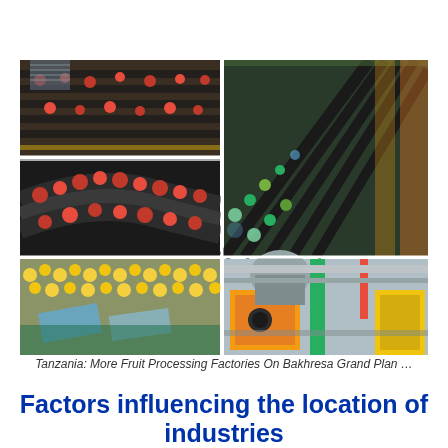[Figure (photo): A 2x3 grid photo collage of fruit processing factory images: top-left shows overhead view of conveyor belts with tomatoes, top-right shows green fruits on parallel conveyor lines in a large warehouse, middle-left shows tomatoes on curved conveyor belts, bottom-left shows yellow lemons/fruits on processing equipment with blue chutes, bottom-right shows yellow industrial machinery in a factory.]
Tanzania: More Fruit Processing Factories On Bakhresa Grand Plan …
Factors influencing the location of industries